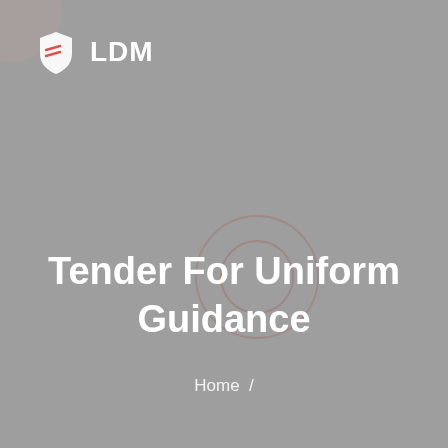[Figure (logo): LDM logo with shield icon and text 'LDM' in white]
Tender For Uniform Guidance
Home /